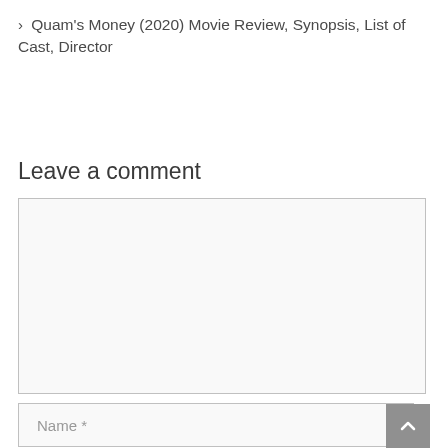> Quam's Money (2020) Movie Review, Synopsis, List of Cast, Director
Leave a comment
[Figure (other): Comment text area input box (empty, light gray background)]
[Figure (other): Name input field with placeholder text 'Name *']
[Figure (other): Scroll-to-top button (gray square with upward chevron) in bottom-right corner]